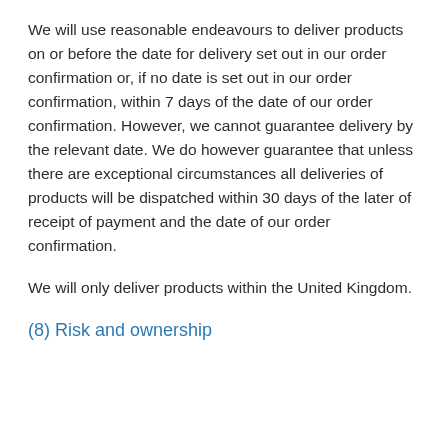We will use reasonable endeavours to deliver products on or before the date for delivery set out in our order confirmation or, if no date is set out in our order confirmation, within 7 days of the date of our order confirmation. However, we cannot guarantee delivery by the relevant date. We do however guarantee that unless there are exceptional circumstances all deliveries of products will be dispatched within 30 days of the later of receipt of payment and the date of our order confirmation.
We will only deliver products within the United Kingdom.
(8) Risk and ownership